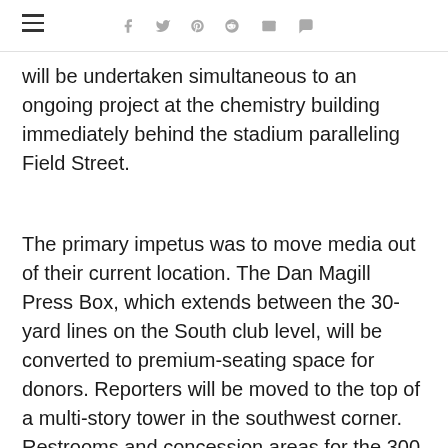will be undertaken simultaneous to an ongoing project at the chemistry building immediately behind the stadium paralleling Field Street.
The primary impetus was to move media out of their current location. The Dan Magill Press Box, which extends between the 30-yard lines on the South club level, will be converted to premium-seating space for donors. Reporters will be moved to the top of a multi-story tower in the southwest corner. Restrooms and concession areas for the 300 level also will be included in the new addition, which will be connected to Gillis Bridge via a plaza